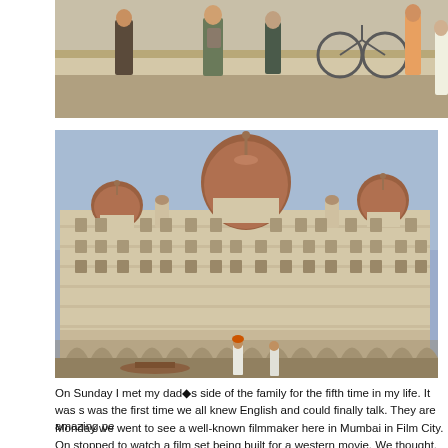[Figure (photo): Partial photo at top showing people standing near a railing or wall, with a bicycle visible, outdoor scene]
[Figure (photo): Photograph of the Taj Mahal Palace Hotel in Mumbai (Bombay), India. Large ornate Victorian-era building with a prominent central dome and smaller domes, arched colonnades along the ground floor, detailed facade. Waterfront scene with figures in the foreground.]
On Sunday I met my dad●s side of the family for the fifth time in my life. It was s was the first time we all knew English and could finally talk. They are amazing pe
Monday we went to see a well-known filmmaker here in Mumbai in Film City. On stopped to watch a film set being built for a western movie. We thought, ●Wow, all-American film set.●